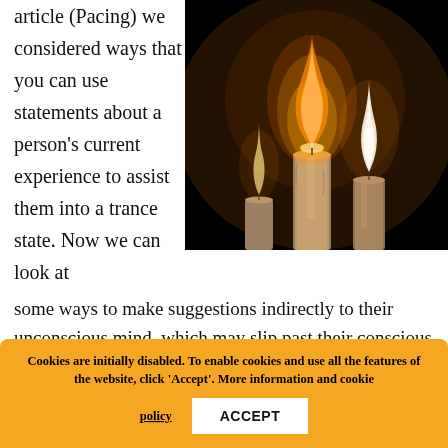article (Pacing) we considered ways that you can use statements about a person's current experience to assist them into a trance state. Now we can look at some ways to make suggestions indirectly to their unconscious mind, which may slip past their conscious awareness unnoticed.
[Figure (photo): Close-up photograph of white candles lit in the dark, with warm glowing flames against a black background.]
First, let's explore different types of ambiguity. Like any Ericksonian pattern, you could use these